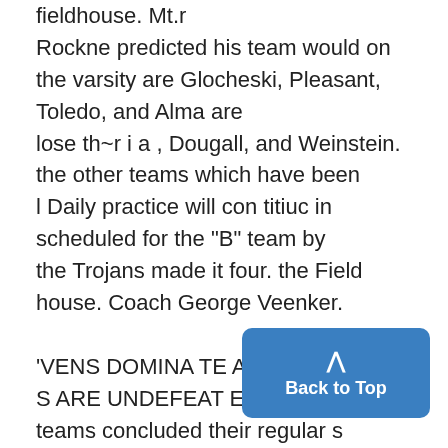fieldhouse. Mt.r
Rockne predicted his team would on the varsity are Glocheski, Pleasant, Toledo, and Alma are
lose th~r i a , Dougall, and Weinstein. the other teams which have been
l Daily practice will con titiuc in scheduled for the "B" team by
the Trojans made it four. the Field house. Coach George Veenker.

'VENS DOMINA TE ADIIP
S ARE UNDEFEAT EDW
teams concluded their regular s